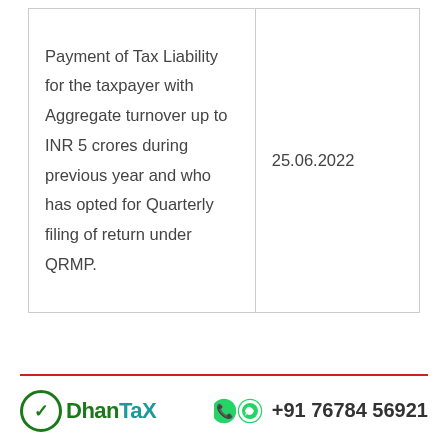| Payment of Tax Liability for the taxpayer with Aggregate turnover up to INR 5 crores during previous year and who has opted for Quarterly filing of return under QRMP. | 25.06.2022 |
©DhanTax  +91 76784 56921